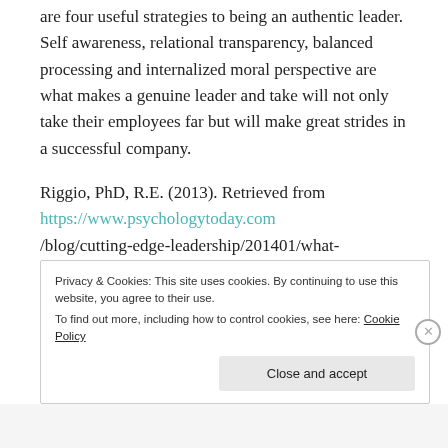are four useful strategies to being an authentic leader. Self awareness, relational transparency, balanced processing and internalized moral perspective are what makes a genuine leader and take will not only take their employees far but will make great strides in a successful company.
Riggio, PhD, R.E. (2013). Retrieved from https://www.psychologytoday.com/blog/cutting-edge-leadership/201401/what-is-authentic-leadership-do-you-have-it.
Privacy & Cookies: This site uses cookies. By continuing to use this website, you agree to their use. To find out more, including how to control cookies, see here: Cookie Policy